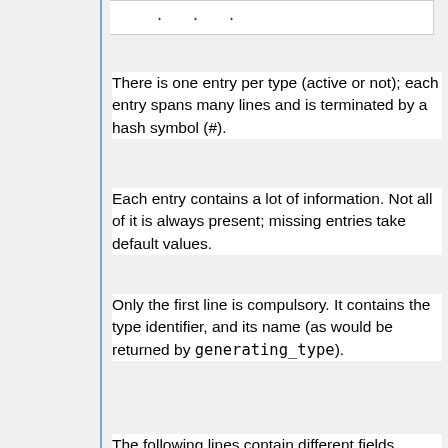. . .
There is one entry per type (active or not); each entry spans many lines and is terminated by a hash symbol (#).
Each entry contains a lot of information. Not all of it is always present; missing entries take default values.
Only the first line is compulsory. It contains the type identifier, and its name (as would be returned by generating_type).
The following lines contain different fields, marked by a keyword, a colon and a value. There may be one or more fields on a single line. Those fields are:
The path to the file containing the source code. May be omitted if